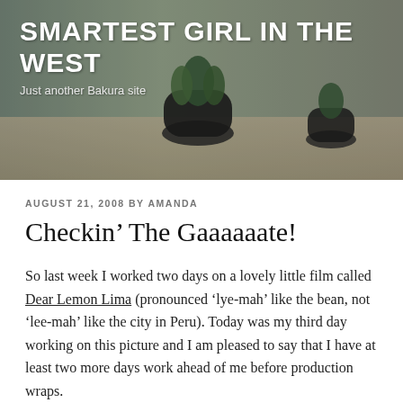[Figure (photo): Blog header image showing potted succulent plants on a table with a blurred background, overlaid with white bold text reading 'SMARTEST GIRL IN THE WEST' and subtitle 'Just another Bakura site']
SMARTEST GIRL IN THE WEST
Just another Bakura site
AUGUST 21, 2008 BY AMANDA
Checkin’ The Gaaaaaate!
So last week I worked two days on a lovely little film called Dear Lemon Lima (pronounced ‘lye-mah’ like the bean, not ‘lee-mah’ like the city in Peru). Today was my third day working on this picture and I am pleased to say that I have at least two more days work ahead of me before production wraps.
I play a member of the Board of Directors of the Nichols School (fictional prep school where the film takes place).